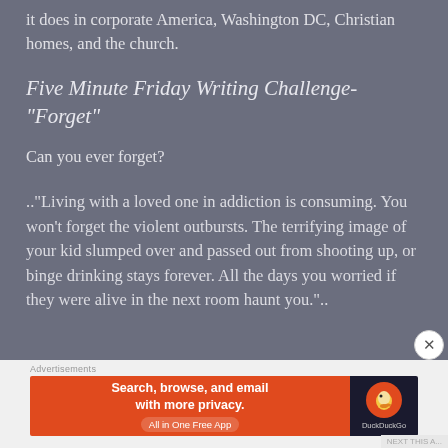it does in corporate America, Washington DC, Christian homes, and the church.
Five Minute Friday Writing Challenge- “Forget”
Can you ever forget?
..“Living with a loved one in addiction is consuming. You won’t forget the violent outbursts. The terrifying image of your kid slumped over and passed out from shooting up, or binge drinking stays forever. All the days you worried if they were alive in the next room haunt you.”..
[Figure (infographic): DuckDuckGo advertisement banner: orange left section with text 'Search, browse, and email with more privacy. All in One Free App' and dark right section with DuckDuckGo duck logo.]
Advertisements